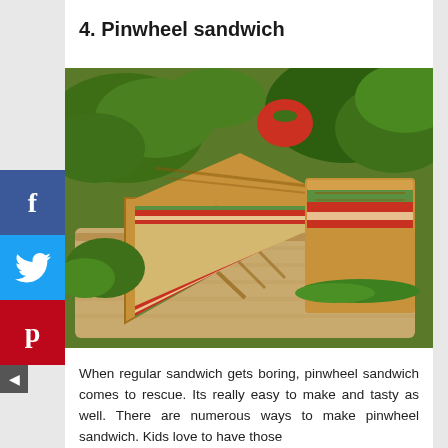4. Pinwheel sandwich
[Figure (photo): Photo of pinwheel sandwiches (toasted triangular club sandwiches) on a wooden cutting board with lettuce, tomatoes, and greens in the background]
When regular sandwich gets boring, pinwheel sandwich comes to rescue. Its really easy to make and tasty as well. There are numerous ways to make pinwheel sandwich. Kids love to have those